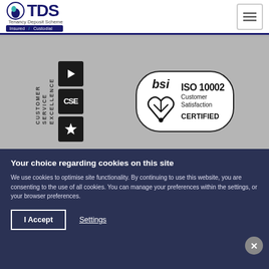[Figure (logo): TDS Tenancy Deposit Scheme logo with Insured and Custodial badges]
[Figure (logo): Customer Service Excellence award logo with play, CSE, and star icons]
[Figure (logo): BSI ISO 10002 Customer Satisfaction Certified logo]
[Figure (logo): Social media icons: Facebook, Twitter, LinkedIn, Instagram, YouTube]
[Figure (logo): Payment method logos: Mastercard, JCB, Maestro, Visa, WorldPay]
Your choice regarding cookies on this site
We use cookies to optimise site functionality. By continuing to use this website, you are consenting to the use of all cookies. You can manage your preferences within the settings, or your browser preferences.
I Accept
Settings